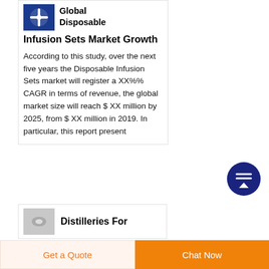Global Disposable Infusion Sets Market Growth
According to this study, over the next five years the Disposable Infusion Sets market will register a XX%% CAGR in terms of revenue, the global market size will reach $ XX million by 2025, from $ XX million in 2019. In particular, this report present
[Figure (illustration): Scroll-to-top circular button with upward arrow, dark navy blue background]
Distilleries For
[Figure (photo): Small product photo with gray background, second card thumbnail]